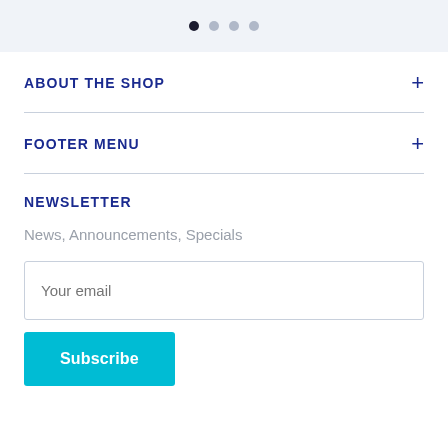[Figure (other): Pagination dots indicator: one filled black dot followed by three lighter grey dots]
ABOUT THE SHOP
FOOTER MENU
NEWSLETTER
News, Announcements, Specials
Your email
Subscribe